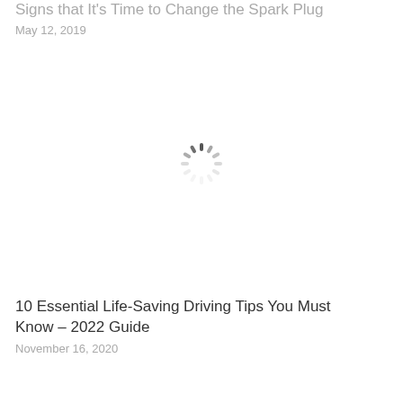Signs that It's Time to Change the Spark Plug
May 12, 2019
[Figure (other): Loading spinner icon (animated spinner placeholder indicating an image is loading)]
10 Essential Life-Saving Driving Tips You Must Know – 2022 Guide
November 16, 2020